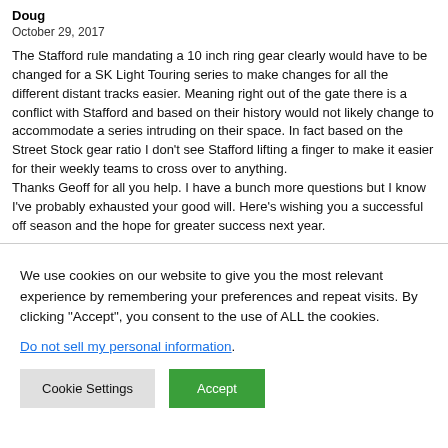Doug
October 29, 2017
The Stafford rule mandating a 10 inch ring gear clearly would have to be changed for a SK Light Touring series to make changes for all the different distant tracks easier. Meaning right out of the gate there is a conflict with Stafford and based on their history would not likely change to accommodate a series intruding on their space. In fact based on the Street Stock gear ratio I don't see Stafford lifting a finger to make it easier for their weekly teams to cross over to anything.
Thanks Geoff for all you help. I have a bunch more questions but I know I've probably exhausted your good will. Here's wishing you a successful off season and the hope for greater success next year.
We use cookies on our website to give you the most relevant experience by remembering your preferences and repeat visits. By clicking "Accept", you consent to the use of ALL the cookies.
Do not sell my personal information.
Cookie Settings
Accept